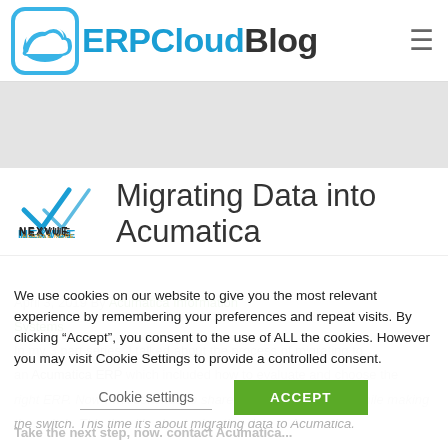ERP Cloud Blog
[Figure (logo): Nexvue logo with checkmark and text NEXVUE ACHIEVE MORE]
Migrating Data into Acumatica
We use cookies on our website to give you the most relevant experience by remembering your preferences and repeat visits. By clicking “Accept”, you consent to the use of ALL the cookies. However you may visit Cookie Settings to provide a controlled consent.
Cookie settings
ACCEPT